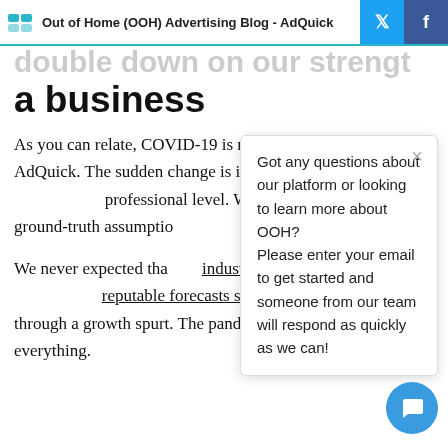Out of Home (OOH) Advertising Blog - AdQuick
a business
As you can relate, COVID-19 is new terrain for everyone at AdQuick. The sudden change is impacting all of us on b professional level. We ground-truth assumptio and about.
Got any questions about our platform or looking to learn more about OOH? Please enter your email to get started and someone from our team will respond as quickly as we can!
We never expected tha industry would take the reputable forecasts said that OOH was going through a growth spurt. The pandemic has changed everything.